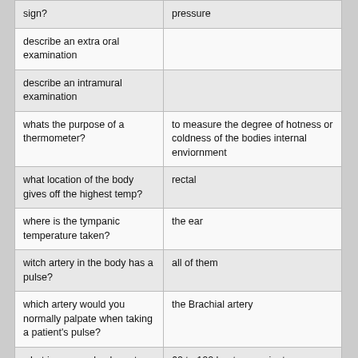| Question | Answer |
| --- | --- |
| sign? | pressure |
| describe an extra oral examination |  |
| describe an intramural examination |  |
| whats the purpose of a thermometer? | to measure the degree of hotness or coldness of the bodies internal enviornment |
| what location of the body gives off the highest temp? | rectal |
| where is the tympanic temperature taken? | the ear |
| witch artery in the body has a pulse? | all of them |
| which artery would you normally palpate when taking a patient's pulse? | the Brachial artery |
| what is a normal pulse rate for adults | 60 to 100 beats per minute |